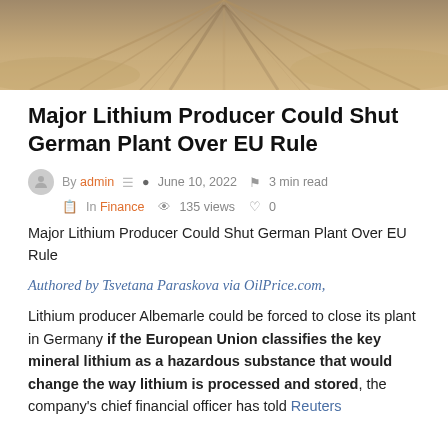[Figure (photo): Aerial or ground-level view of a dirt road through a sandy/earthy landscape, sepia-toned]
Major Lithium Producer Could Shut German Plant Over EU Rule
By admin  June 10, 2022  3 min read  In Finance  135 views  0
Major Lithium Producer Could Shut German Plant Over EU Rule
Authored by Tsvetana Paraskova via OilPrice.com,
Lithium producer Albemarle could be forced to close its plant in Germany if the European Union classifies the key mineral lithium as a hazardous substance that would change the way lithium is processed and stored, the company's chief financial officer has told Reuters